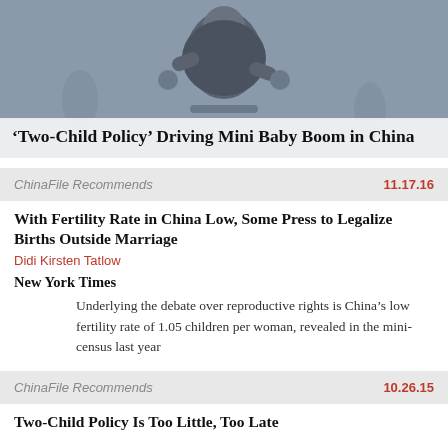[Figure (photo): Photo of a young child in a stroller/carrier outdoors, with blurred background]
'Two-Child Policy' Driving Mini Baby Boom in China
ChinaFile Recommends   11.17.16
With Fertility Rate in China Low, Some Press to Legalize Births Outside Marriage
Didi Kirsten Tatlow
New York Times
Underlying the debate over reproductive rights is China’s low fertility rate of 1.05 children per woman, revealed in the mini-census last year
ChinaFile Recommends   10.26.15
Two-Child Policy Is Too Little, Too Late